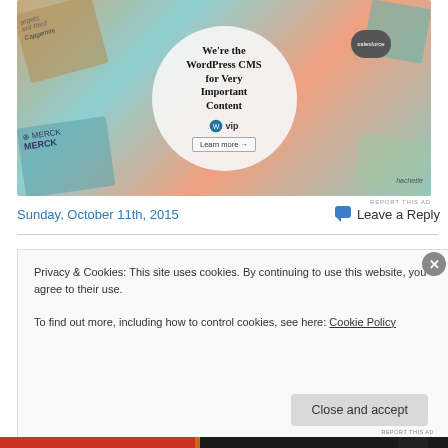[Figure (screenshot): WordPress VIP advertisement showing a collage of brand logos (Merck, Salesforce, Capgemini, etc.) with a central white circle containing the text 'We're the WordPress CMS for Very Important Content' with WP VIP logo and 'Learn more' button.]
REPORT THIS AD
Sunday, October 11th, 2015
💬 Leave a Reply
Privacy & Cookies: This site uses cookies. By continuing to use this website, you agree to their use.
To find out more, including how to control cookies, see here: Cookie Policy
Close and accept